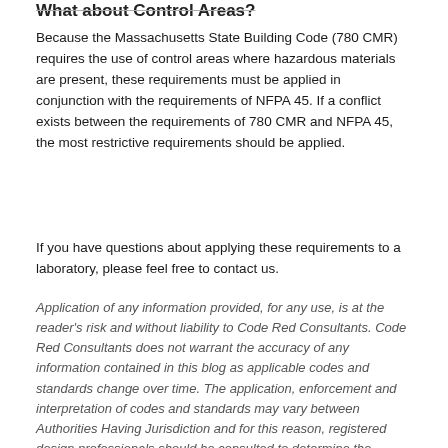What about Control Areas?
Because the Massachusetts State Building Code (780 CMR) requires the use of control areas where hazardous materials are present, these requirements must be applied in conjunction with the requirements of NFPA 45. If a conflict exists between the requirements of 780 CMR and NFPA 45, the most restrictive requirements should be applied.
If you have questions about applying these requirements to a laboratory, please feel free to contact us.
Application of any information provided, for any use, is at the reader’s risk and without liability to Code Red Consultants. Code Red Consultants does not warrant the accuracy of any information contained in this blog as applicable codes and standards change over time. The application, enforcement and interpretation of codes and standards may vary between Authorities Having Jurisdiction and for this reason, registered design professionals should be consulted to determine the…